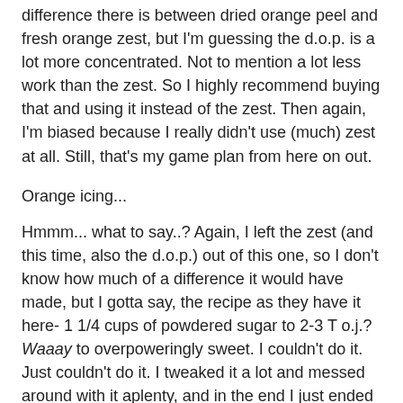difference there is between dried orange peel and fresh orange zest, but I'm guessing the d.o.p. is a lot more concentrated. Not to mention a lot less work than the zest. So I highly recommend buying that and using it instead of the zest. Then again, I'm biased because I really didn't use (much) zest at all. Still, that's my game plan from here on out.
Orange icing...
Hmmm... what to say..? Again, I left the zest (and this time, also the d.o.p.) out of this one, so I don't know how much of a difference it would have made, but I gotta say, the recipe as they have it here- 1 1/4 cups of powdered sugar to 2-3 T o.j.? Waaay to overpoweringly sweet. I couldn't do it. Just couldn't do it. I tweaked it a lot and messed around with it aplenty, and in the end I just ended up going with 1. a bunch of powdered sugar, 2. a pinch of salt, 3. o.j. concentrate, and 4. fresh squeezed lemon juice (about half a lemon). Basically I started with the sugar in a bowl, added the salt, then kept adding the concentrate until it got to about the consistency I wanted. Then added some lemon juice for balance. It was